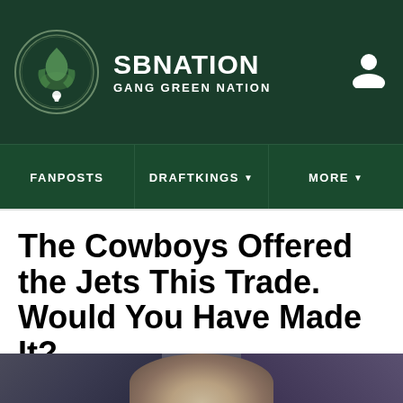SB NATION | GANG GREEN NATION
FANPOSTS | DRAFTKINGS | MORE
The Cowboys Offered the Jets This Trade. Would You Have Made It?
By John B  |  May 3, 2016, 10:00am EDT
SHARE
[Figure (photo): Blurred photo of a person with light hair, dark background]